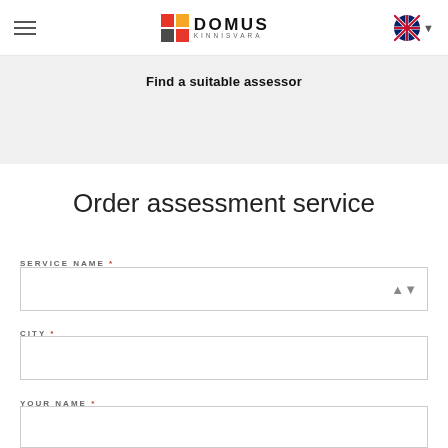DOMUS KINNISVARA
Find a suitable assessor
Order assessment service
SERVICE NAME *
CITY *
YOUR NAME *